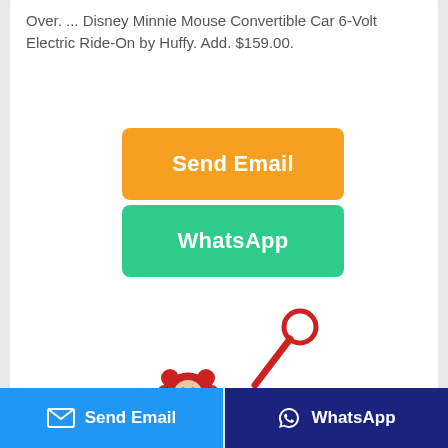Over. ... Disney Minnie Mouse Convertible Car 6-Volt Electric Ride-On by Huffy. Add. $159.00.
[Figure (screenshot): Orange 'Send Email' button]
[Figure (screenshot): Green 'WhatsApp' button]
[Figure (photo): Partial product image of a red Mickey Mouse ride-on toy scooter]
[Figure (screenshot): Bottom navigation bar with blue 'Send Email' button on left and dark blue 'WhatsApp' button on right]